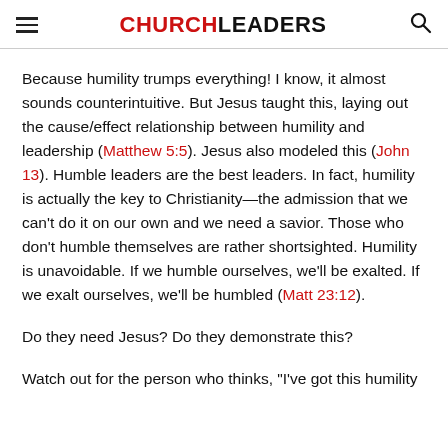CHURCHLEADERS
Because humility trumps everything! I know, it almost sounds counterintuitive. But Jesus taught this, laying out the cause/effect relationship between humility and leadership (Matthew 5:5). Jesus also modeled this (John 13). Humble leaders are the best leaders. In fact, humility is actually the key to Christianity—the admission that we can't do it on our own and we need a savior. Those who don't humble themselves are rather shortsighted. Humility is unavoidable. If we humble ourselves, we'll be exalted. If we exalt ourselves, we'll be humbled (Matt 23:12).
Do they need Jesus? Do they demonstrate this?
Watch out for the person who thinks, "I've got this humility